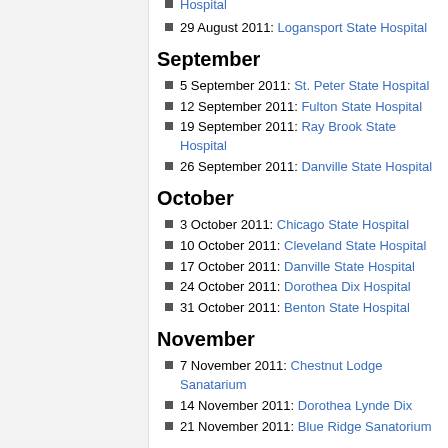Hospital
29 August 2011: Logansport State Hospital
September
5 September 2011: St. Peter State Hospital
12 September 2011: Fulton State Hospital
19 September 2011: Ray Brook State Hospital
26 September 2011: Danville State Hospital
October
3 October 2011: Chicago State Hospital
10 October 2011: Cleveland State Hospital
17 October 2011: Danville State Hospital
24 October 2011: Dorothea Dix Hospital
31 October 2011: Benton State Hospital
November
7 November 2011: Chestnut Lodge Sanatarium
14 November 2011: Dorothea Lynde Dix
21 November 2011: Blue Ridge Sanatorium